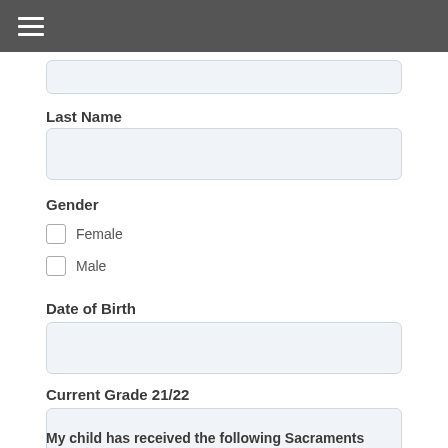[Figure (other): Gray header bar with hamburger menu icon (three white horizontal lines)]
Last Name
Gender
Female
Male
Date of Birth
Current Grade 21/22
My child has received the following Sacraments